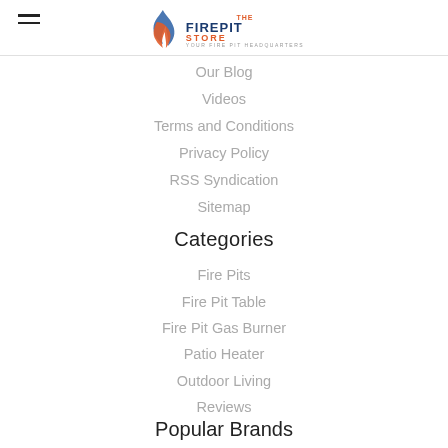The Fire Pit Store
Our Blog
Videos
Terms and Conditions
Privacy Policy
RSS Syndication
Sitemap
Categories
Fire Pits
Fire Pit Table
Fire Pit Gas Burner
Patio Heater
Outdoor Living
Reviews
Popular Brands